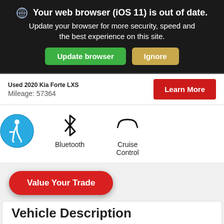[Figure (screenshot): Browser update banner with dark background, globe icon, bold title 'Your web browser (iOS 11) is out of date.', subtitle text, green Update browser button and tan Ignore button]
Used 2020 Kia Forte LXS
Mileage: 57364
[Figure (screenshot): Learn More red button]
[Figure (screenshot): Bluetooth icon and Cruise Control icon with labels, accessibility icon (blue circle with wheelchair symbol)]
[Figure (screenshot): Value Your Trade red pill-shaped button]
Vehicle Description
2020 Kia Forte LXS Local Trade In, Lifetime Oil &